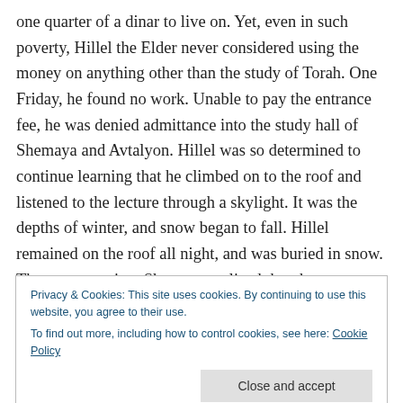one quarter of a dinar to live on. Yet, even in such poverty, Hillel the Elder never considered using the money on anything other than the study of Torah. One Friday, he found no work. Unable to pay the entrance fee, he was denied admittance into the study hall of Shemaya and Avtalyon. Hillel was so determined to continue learning that he climbed on to the roof and listened to the lecture through a skylight. It was the depths of winter, and snow began to fall. Hillel remained on the roof all night, and was buried in snow. The next morning, Shemaya realized that there was a figure blocking the sunlight. The students
Privacy & Cookies: This site uses cookies. By continuing to use this website, you agree to their use.
To find out more, including how to control cookies, see here: Cookie Policy
Close and accept
The Sages continued and said: That day was Shabbat